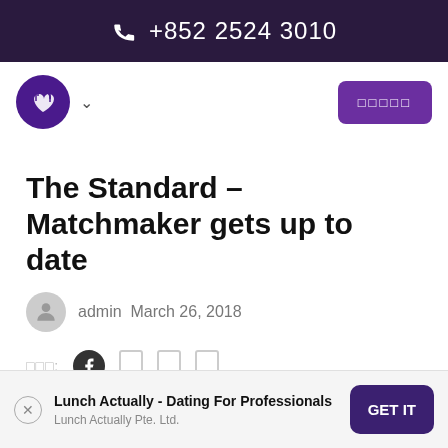+852 2524 3010
[Figure (logo): Circular purple logo with heart and fork/knife icons]
預約諮詢 (Book Consultation button)
The Standard – Matchmaker gets up to date
admin  March 26, 2018
分享: (social share icons — Facebook and others)
Lunch Actually - Dating For Professionals
Lunch Actually Pte. Ltd.
GET IT